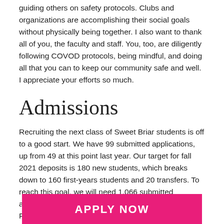guiding others on safety protocols. Clubs and organizations are accomplishing their social goals without physically being together. I also want to thank all of you, the faculty and staff. You, too, are diligently following COVOD protocols, being mindful, and doing all that you can to keep our community safe and well. I appreciate your efforts so much.
Admissions
Recruiting the next class of Sweet Briar students is off to a good start. We have 99 submitted applications, up from 49 at this point last year. Our target for fall 2021 deposits is 180 new students, which breaks down to 160 first-years students and 20 transfers. To reach this goal, we will need 1,066 submitted applications from first-years and 80 from transfers. From another angle this means we will need 821 admitted first-year students and 41 admitted transfers. Our en
APPLY NOW